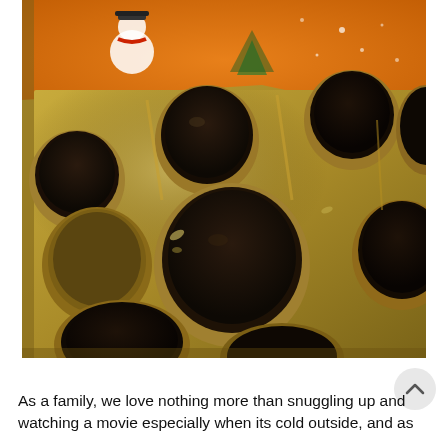[Figure (photo): Close-up photograph of an open box of chocolates in a gold/silver tray with a Christmas-themed orange lid visible at the top. The box contains multiple dark chocolate rounds arranged in circular moulded compartments. Several slots are empty (chocolates already eaten). A snowman illustration is visible on the orange lid.]
As a family, we love nothing more than snuggling up and watching a movie especially when its cold outside, and as